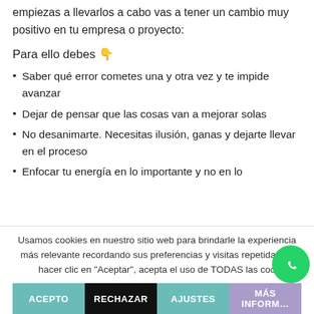empiezas a llevarlos a cabo vas a tener un cambio muy positivo en tu empresa o proyecto:
Para ello debes 👇
Saber qué error cometes una y otra vez y te impide avanzar
Dejar de pensar que las cosas van a mejorar solas
No desanimarte. Necesitas ilusión, ganas y dejarte llevar en el proceso
Enfocar tu energía en lo importante y no en lo
Usamos cookies en nuestro sitio web para brindarle la experiencia más relevante recordando sus preferencias y visitas repetidas. Al hacer clic en "Aceptar", acepta el uso de TODAS las coo